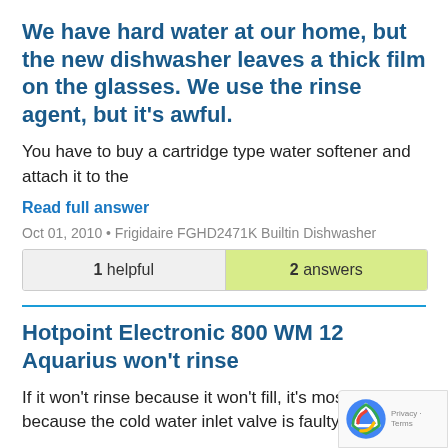We have hard water at our home, but the new dishwasher leaves a thick film on the glasses. We use the rinse agent, but it's awful.
You have to buy a cartridge type water softener and attach it to the
Read full answer
Oct 01, 2010 • Frigidaire FGHD2471K Builtin Dishwasher
| 1 helpful | 2 answers |
| --- | --- |
Hotpoint Electronic 800 WM 12 Aquarius won't rinse
If it won't rinse because it won't fill, it's most probably because the cold water inlet valve is faulty. Many